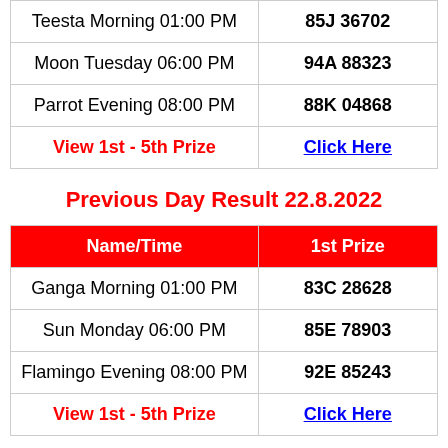| Name/Time | 1st Prize |
| --- | --- |
| Teesta Morning 01:00 PM | 85J 36702 |
| Moon Tuesday 06:00 PM | 94A 88323 |
| Parrot Evening 08:00 PM | 88K 04868 |
| View 1st - 5th Prize | Click Here |
Previous Day Result 22.8.2022
| Name/Time | 1st Prize |
| --- | --- |
| Ganga Morning 01:00 PM | 83C 28628 |
| Sun Monday 06:00 PM | 85E 78903 |
| Flamingo Evening 08:00 PM | 92E 85243 |
| View 1st - 5th Prize | Click Here |